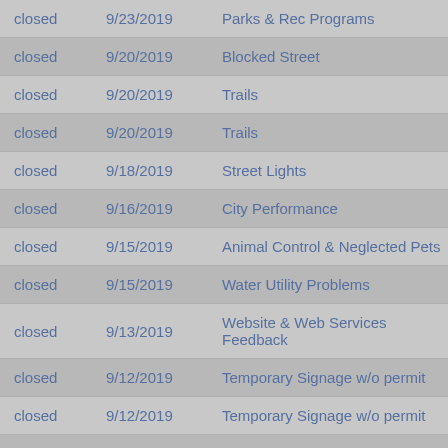| Status | Date | Category |
| --- | --- | --- |
| closed | 9/23/2019 | Parks & Rec Programs |
| closed | 9/20/2019 | Blocked Street |
| closed | 9/20/2019 | Trails |
| closed | 9/20/2019 | Trails |
| closed | 9/18/2019 | Street Lights |
| closed | 9/16/2019 | City Performance |
| closed | 9/15/2019 | Animal Control & Neglected Pets |
| closed | 9/15/2019 | Water Utility Problems |
| closed | 9/13/2019 | Website & Web Services Feedback |
| closed | 9/12/2019 | Temporary Signage w/o permit |
| closed | 9/12/2019 | Temporary Signage w/o permit |
| closed | 9/12/2019 | Other |